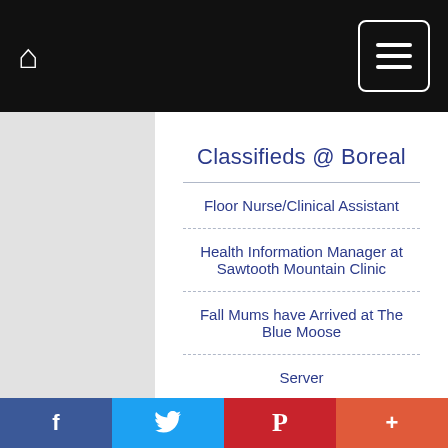Classifieds @ Boreal (navigation bar with home icon and menu icon)
Classifieds @ Boreal
Floor Nurse/Clinical Assistant
Health Information Manager at Sawtooth Mountain Clinic
Fall Mums have Arrived at The Blue Moose
Server
Line Cook
Pharmacy Technician at Sawtooth Mountain Clinic Pharmac…
f  (twitter bird)  P  +